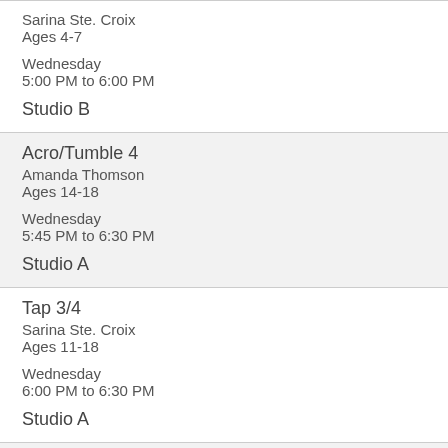Sarina Ste. Croix
Ages 4-7
Wednesday
5:00 PM to 6:00 PM
Studio B
Acro/Tumble 4
Amanda Thomson
Ages 14-18
Wednesday
5:45 PM to 6:30 PM
Studio A
Tap 3/4
Sarina Ste. Croix
Ages 11-18
Wednesday
6:00 PM to 6:30 PM
Studio A
Contemporary 4
Amanda Thomson